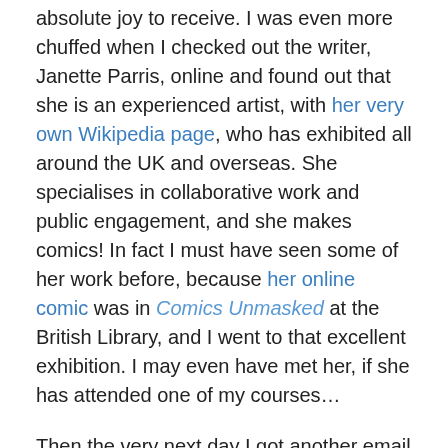absolute joy to receive. I was even more chuffed when I checked out the writer, Janette Parris, online and found out that she is an experienced artist, with her very own Wikipedia page, who has exhibited all around the UK and overseas. She specialises in collaborative work and public engagement, and she makes comics! In fact I must have seen some of her work before, because her online comic was in Comics Unmasked at the British Library, and I went to that excellent exhibition. I may even have met her, if she has attended one of my courses…
Then the very next day I got another email alert saying Janette Parris had published another blog post focusing on my book. I went to read it, and do you know what? She disagreed with a point I had made, and I was SO PLEASED.